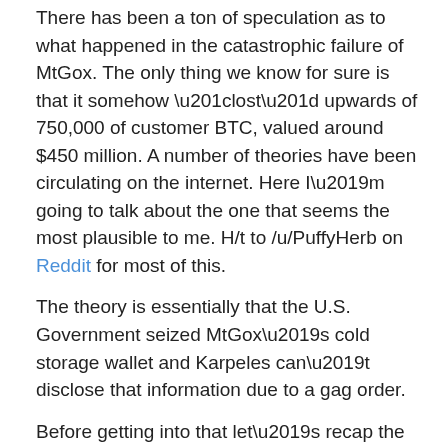There has been a ton of speculation as to what happened in the catastrophic failure of MtGox. The only thing we know for sure is that it somehow “lost” upwards of 750,000 of customer BTC, valued around $450 million. A number of theories have been circulating on the internet. Here I’m going to talk about the one that seems the most plausible to me. H/t to /u/PuffyHerb on Reddit for most of this.
The theory is essentially that the U.S. Government seized MtGox’s cold storage wallet and Karpeles can’t disclose that information due to a gag order.
Before getting into that let’s recap the “official” story of what is believed to have happened.
MtGox was ignorant of the transaction malleability issue despite it being known for years and there being a wiki page dedicated to it.